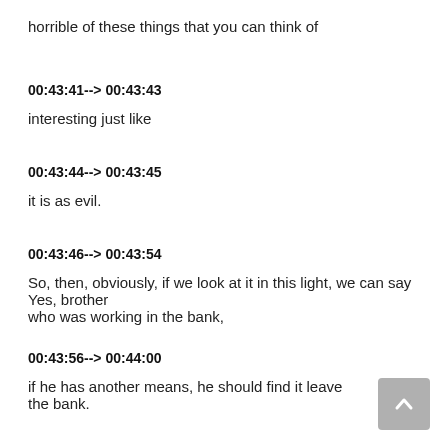horrible of these things that you can think of
00:43:41--> 00:43:43
interesting just like
00:43:44--> 00:43:45
it is as evil.
00:43:46--> 00:43:54
So, then, obviously, if we look at it in this light, we can say Yes, brother who was working in the bank,
00:43:56--> 00:44:00
if he has another means, he should find it leave the bank.